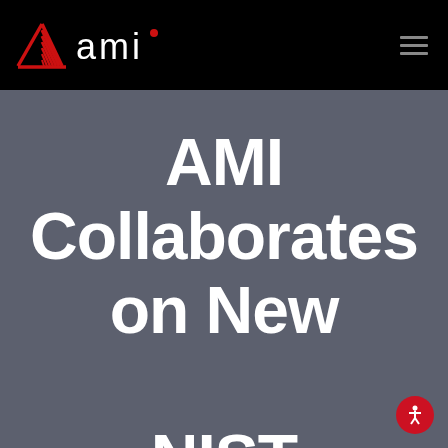[Figure (logo): AMI logo: red triangle/pyramid shape on left with 'ami' text in white and red dot above the 'i', on black background header]
AMI Collaborates on New NIST